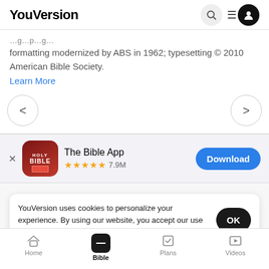YouVersion
formatting modernized by ABS in 1962; typesetting © 2010 American Bible Society.
Learn More
[Figure (screenshot): Navigation arrows (< and >) in circular buttons]
[Figure (screenshot): App store banner: The Bible App icon (Holy Bible), 5 stars, 7.9M ratings, Download button]
YouVersion uses cookies to personalize your experience. By using our website, you accept our use of cookies as described in our Privacy Policy.
Home | Bible | Plans | Videos